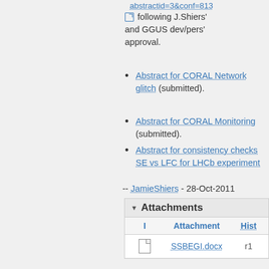Abstract for CORAL Network glitch (submitted).
Abstract for CORAL Monitoring (submitted).
Abstract for consistency checks SE vs LFC for LHCb experiment
-- JamieShiers - 28-Oct-2011
Attachments
| I | Attachment | Hist |
| --- | --- | --- |
| [file icon] | SSBEGI.docx | r1 |